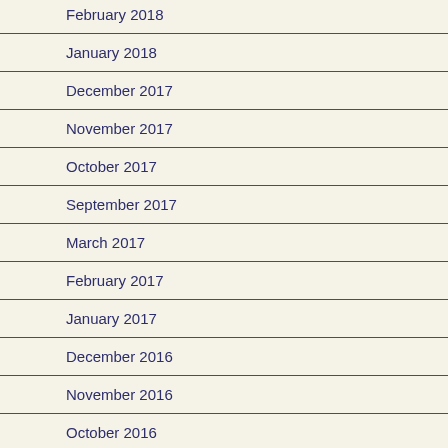February 2018
January 2018
December 2017
November 2017
October 2017
September 2017
March 2017
February 2017
January 2017
December 2016
November 2016
October 2016